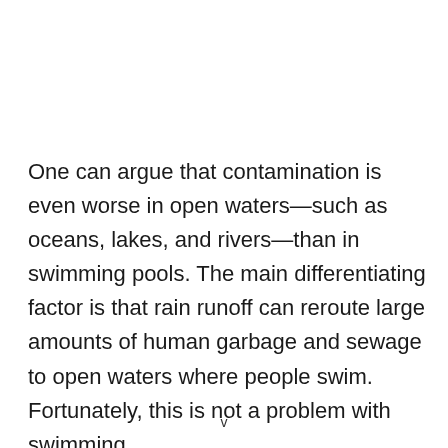One can argue that contamination is even worse in open waters—such as oceans, lakes, and rivers—than in swimming pools. The main differentiating factor is that rain runoff can reroute large amounts of human garbage and sewage to open waters where people swim. Fortunately, this is not a problem with swimming
v